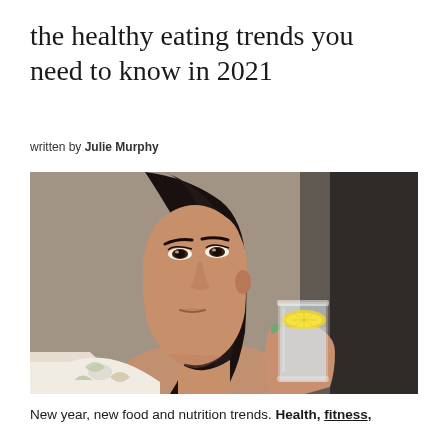the healthy eating trends you need to know in 2021
written by Julie Murphy
[Figure (photo): A young woman with dark hair holding a glass of water with a lemon slice, wearing a floral blouse, photographed in profile.]
New year, new food and nutrition trends. Health, fitness,